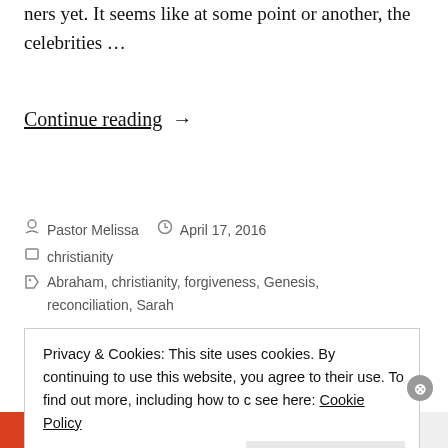ners yet. It seems like at some point or another, the celebrities …
Continue reading →
Pastor Melissa   April 17, 2016
christianity
Abraham, christianity, forgiveness, Genesis, reconciliation, Sarah
Privacy & Cookies: This site uses cookies. By continuing to use this website, you agree to their use. To find out more, including how to control cookies, see here: Cookie Policy
Close and accept